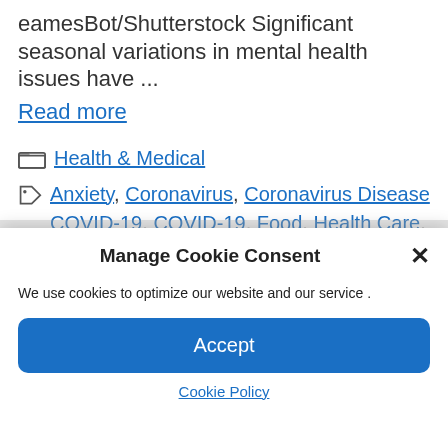eamesBot/Shutterstock Significant seasonal variations in mental health issues have ...
Read more
Health & Medical
Anxiety, Coronavirus, Coronavirus Disease COVID-19, COVID-19, Food, Health Care, mental health, Mortality, Pandemic, Respiratory, SARS, SARS-CoV-2, Severe
Manage Cookie Consent
We use cookies to optimize our website and our service .
Accept
Cookie Policy